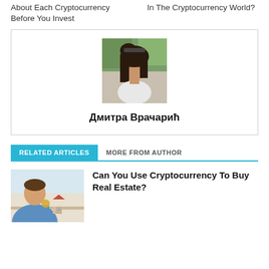About Each Cryptocurrency Before You Invest
In The Cryptocurrency World?
[Figure (photo): Author profile photo of Дмитра Врачарић — a woman with long dark hair looking down, outdoors with green foliage background]
Дмитра Врачарић
RELATED ARTICLES
MORE FROM AUTHOR
[Figure (photo): Thumbnail image of a man in a blue shirt holding a small house model and a coin — representing cryptocurrency real estate]
Can You Use Cryptocurrency To Buy Real Estate?